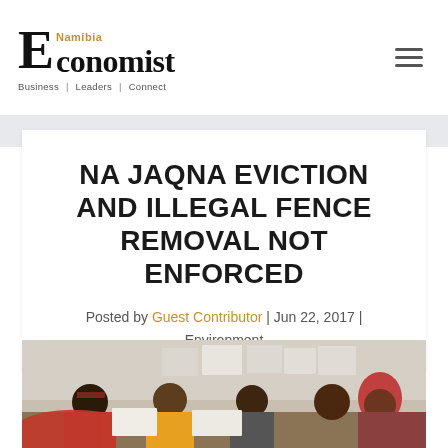Namibia Economist — Business | Leaders | Connect
NA JAQNA EVICTION AND ILLEGAL FENCE REMOVAL NOT ENFORCED
Posted by Guest Contributor | Jun 22, 2017 | Environment
[Figure (photo): Group of people seated around a table looking at documents, in an indoor community setting]